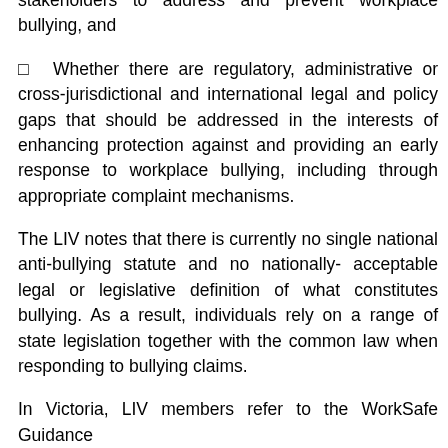stakeholders to address and prevent workplace bullying, and
□  Whether there are regulatory, administrative or cross-jurisdictional and international legal and policy gaps that should be addressed in the interests of enhancing protection against and providing an early response to workplace bullying, including through appropriate complaint mechanisms.
The LIV notes that there is currently no single national anti-bullying statute and no nationally- acceptable legal or legislative definition of what constitutes bullying. As a result, individuals rely on a range of state legislation together with the common law when responding to bullying claims.
In Victoria, LIV members refer to the WorkSafe Guidance